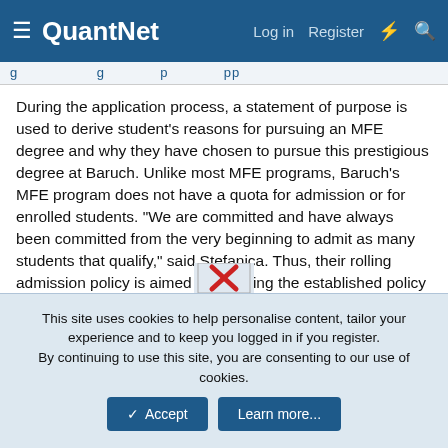QuantNet | Log in | Register
During the application process, a statement of purpose is used to derive student's reasons for pursuing an MFE degree and why they have chosen to pursue this prestigious degree at Baruch. Unlike most MFE programs, Baruch's MFE program does not have a quota for admission or for enrolled students. "We are committed and have always been committed from the very beginning to admit as many students that qualify," said Stefanica. Thus, their rolling admission policy is aimed at following the established policy forcing admissions administrators to establish minimum admission standards for each applicant.
[Figure (illustration): Partially visible image with a red X icon]
This site uses cookies to help personalise content, tailor your experience and to keep you logged in if you register.
By continuing to use this site, you are consenting to our use of cookies.